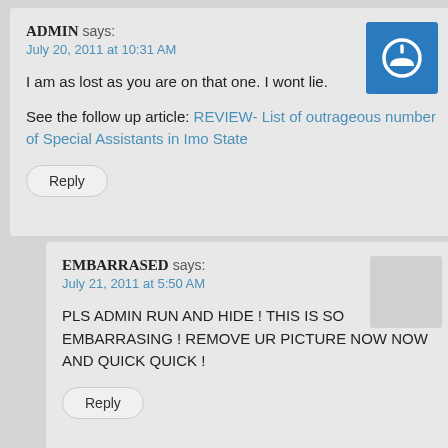ADMIN says: July 20, 2011 at 10:31 AM
I am as lost as you are on that one. I wont lie.
See the follow up article: REVIEW- List of outrageous number of Special Assistants in Imo State
Reply
EMBARRASED says: July 21, 2011 at 5:50 AM
PLS ADMIN RUN AND HIDE ! THIS IS SO EMBARRASING ! REMOVE UR PICTURE NOW NOW AND QUICK QUICK !
Reply